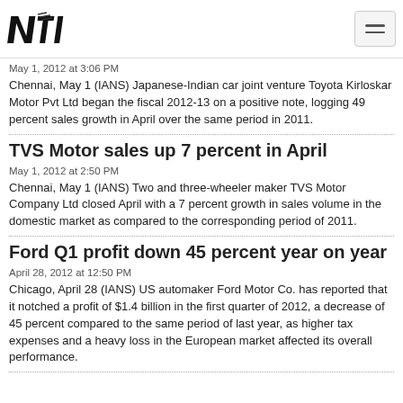NTI logo and menu button
May 1, 2012 at 3:06 PM
Chennai, May 1 (IANS) Japanese-Indian car joint venture Toyota Kirloskar Motor Pvt Ltd began the fiscal 2012-13 on a positive note, logging 49 percent sales growth in April over the same period in 2011.
TVS Motor sales up 7 percent in April
May 1, 2012 at 2:50 PM
Chennai, May 1 (IANS) Two and three-wheeler maker TVS Motor Company Ltd closed April with a 7 percent growth in sales volume in the domestic market as compared to the corresponding period of 2011.
Ford Q1 profit down 45 percent year on year
April 28, 2012 at 12:50 PM
Chicago, April 28 (IANS) US automaker Ford Motor Co. has reported that it notched a profit of $1.4 billion in the first quarter of 2012, a decrease of 45 percent compared to the same period of last year, as higher tax expenses and a heavy loss in the European market affected its overall performance.